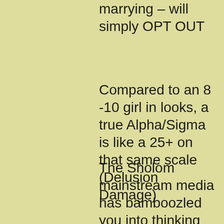marrying – will simply OPT OUT
Compared to an 8 -10 girl in looks, a true Alpha/Sigma is like a 25+ on that same scale (Delusion Damage)
The Sholom mainstream media has bamboozled you into thinking that some random girl is much more valuable than any guy – that guys will hang around and put up with your shit and then " settle down when